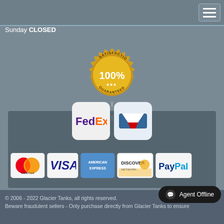[Figure (screenshot): Navigation top bar with hamburger menu button (three horizontal lines) on right side]
Sunday CLOSED
[Figure (illustration): 100% Satisfaction Guaranteed gold seal badge with loading spinner overlay]
[Figure (logo): FedEx and USPS shipping carrier logos in rounded square boxes]
[Figure (logo): Payment method logos: MasterCard, VISA, American Express, Discover Network, PayPal]
© 2006 - 2022 Glacier Tanks, all rights reserved. Beware fraudulent sellers - Only purchase directly from Glacier Tanks to ensure
[Figure (other): Agent Offline chat button in bottom right corner]